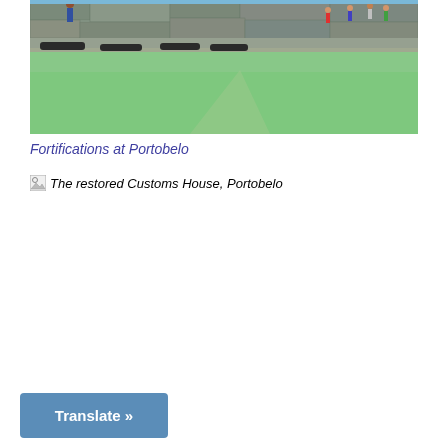[Figure (photo): Photograph of fortifications at Portobelo showing stone walls with cannons, green grass field, and people in background]
Fortifications at Portobelo
[Figure (photo): Broken image placeholder for The restored Customs House, Portobelo]
Translate »